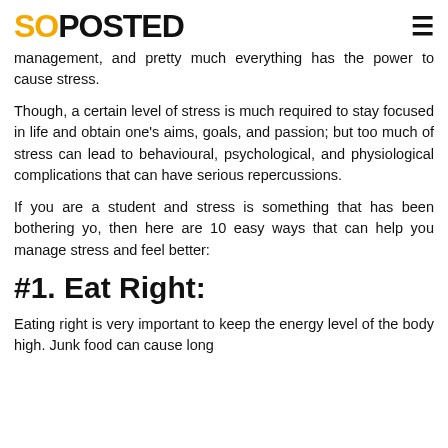SOPOSTED
management, and pretty much everything has the power to cause stress.
Though, a certain level of stress is much required to stay focused in life and obtain one’s aims, goals, and passion; but too much of stress can lead to behavioural, psychological, and physiological complications that can have serious repercussions.
If you are a student and stress is something that has been bothering yo, then here are 10 easy ways that can help you manage stress and feel better:
#1. Eat Right:
Eating right is very important to keep the energy level of the body high. Junk food can cause long